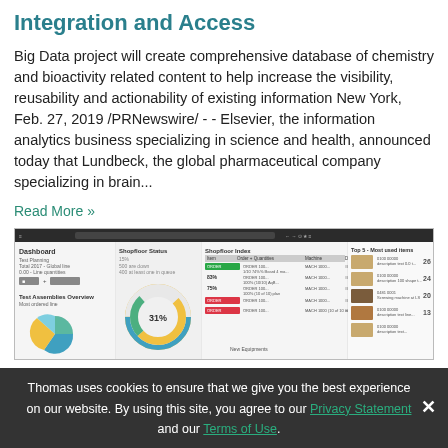Integration and Access
Big Data project will create comprehensive database of chemistry and bioactivity related content to help increase the visibility, reusability and actionability of existing information New York, Feb. 27, 2019 /PRNewswire/ - - Elsevier, the information analytics business specializing in science and health, announced today that Lundbeck, the global pharmaceutical company specializing in brain...
Read More »
[Figure (screenshot): Dashboard screenshot showing a software interface with panels including Dashboard overview with pie chart, Shopfloor Status with donut chart showing 31%, Shopfloor Index table with status badges (green/red), and Top 5 Most used items panel with product images and numbers.]
Thomas uses cookies to ensure that we give you the best experience on our website. By using this site, you agree to our Privacy Statement and our Terms of Use.